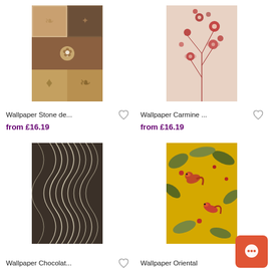[Figure (photo): Wallpaper Stone design product thumbnail - decorative tile pattern in beige and brown tones]
Wallpaper Stone de...
from £16.19
[Figure (photo): Wallpaper Carmine product thumbnail - red floral pattern on pink background]
Wallpaper Carmine ...
from £16.19
[Figure (photo): Wallpaper Chocolat product thumbnail - dark brown/charcoal with wavy cream lines pattern]
Wallpaper Chocolat...
[Figure (photo): Wallpaper Oriental product thumbnail - yellow/mustard background with tropical birds and foliage]
Wallpaper Oriental